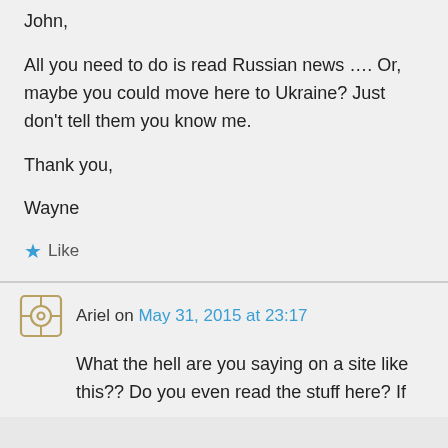John,

All you need to do is read Russian news …. Or, maybe you could move here to Ukraine? Just don't tell them you know me.

Thank you,

Wayne
Like
Ariel on May 31, 2015 at 23:17
What the hell are you saying on a site like this?? Do you even read the stuff here? If